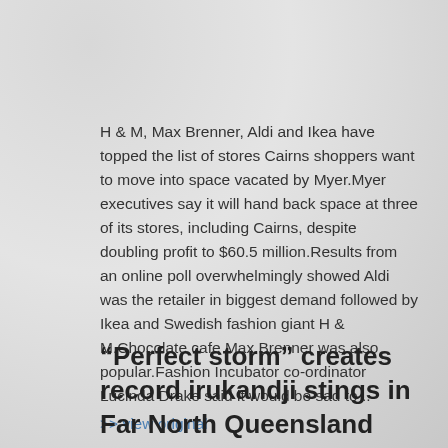H & M, Max Brenner, Aldi and Ikea have topped the list of stores Cairns shoppers want to move into space vacated by Myer.Myer executives say it will hand back space at three of its stores, including Cairns, despite doubling profit to $60.5 million.Results from an online poll overwhelmingly showed Aldi was the retailer in biggest demand followed by Ikea and Swedish fashion giant H & M.Chocolate cafe Max Brenner was also popular.Fashion Incubator co-ordinator Lucinda Drake said it would be sad to .. >> view original
“Perfect storm” creates record irukandji stings in Far North Queensland